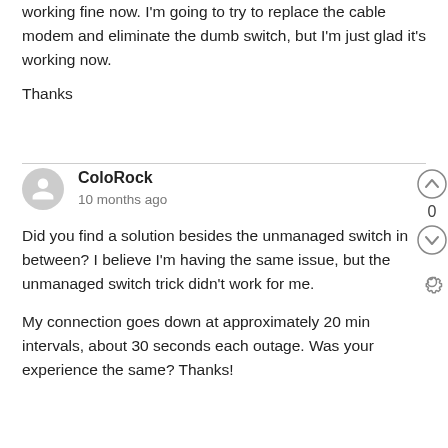working fine now. I'm going to try to replace the cable modem and eliminate the dumb switch, but I'm just glad it's working now.
Thanks
ColoRock
10 months ago
Did you find a solution besides the unmanaged switch in between? I believe I'm having the same issue, but the unmanaged switch trick didn't work for me.
My connection goes down at approximately 20 min intervals, about 30 seconds each outage. Was your experience the same? Thanks!